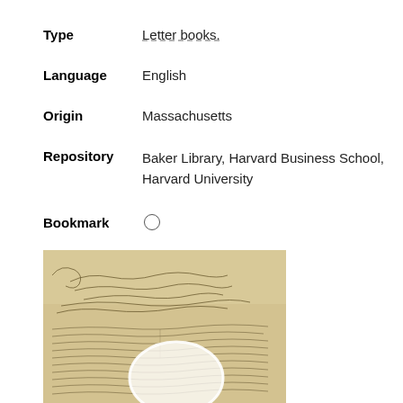Type   Letter books.
Language   English
Origin   Massachusetts
Repository   Baker Library, Harvard Business School, Harvard University
Bookmark   ○
[Figure (photo): Aged handwritten manuscript page with cursive script, appearing to be a catalogue of books presented for the Hancock Donation. The document shows historical handwriting on yellowed paper with a white circular overlay or watermark in the lower portion.]